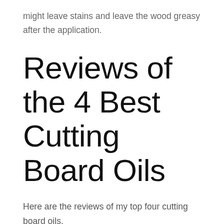might leave stains and leave the wood greasy after the application.
Reviews of the 4 Best Cutting Board Oils
Here are the reviews of my top four cutting board oils.
Thirteen Chefs Food Grade